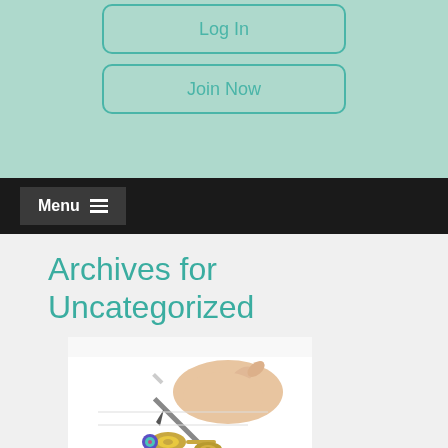Log In
Join Now
Menu ☰
Archives for Uncategorized
[Figure (photo): A hand holding a pen writing on paper, with keys resting on the document in the foreground]